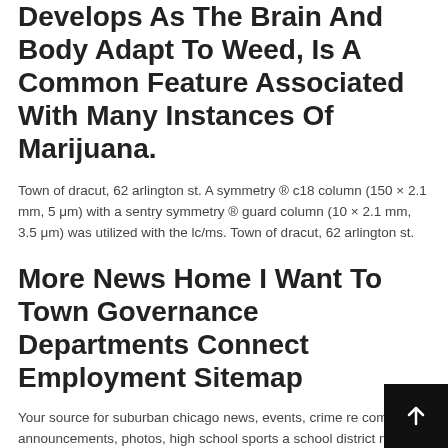Develops As The Brain And Body Adapt To Weed, Is A Common Feature Associated With Many Instances Of Marijuana.
Town of dracut, 62 arlington st. A symmetry ® c18 column (150 × 2.1 mm, 5 μm) with a sentry symmetry ® guard column (10 × 2.1 mm, 3.5 μm) was utilized with the lc/ms. Town of dracut, 62 arlington st.
More News Home I Want To Town Governance Departments Connect Employment Sitemap
Your source for suburban chicago news, events, crime re community announcements, photos, high school sports a school district news,. With consistent use, people who consume